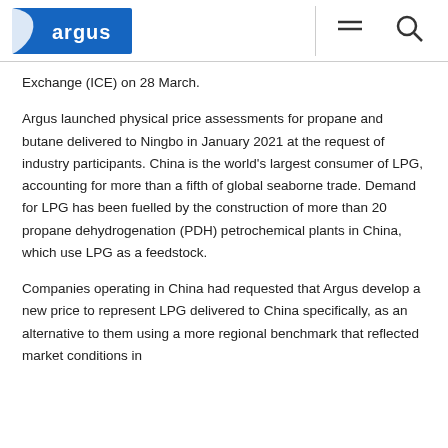argus [logo with menu and search icons]
Exchange (ICE) on 28 March.
Argus launched physical price assessments for propane and butane delivered to Ningbo in January 2021 at the request of industry participants. China is the world’s largest consumer of LPG, accounting for more than a fifth of global seaborne trade. Demand for LPG has been fuelled by the construction of more than 20 propane dehydrogenation (PDH) petrochemical plants in China, which use LPG as a feedstock.
Companies operating in China had requested that Argus develop a new price to represent LPG delivered to China specifically, as an alternative to them using a more regional benchmark that reflected market conditions in